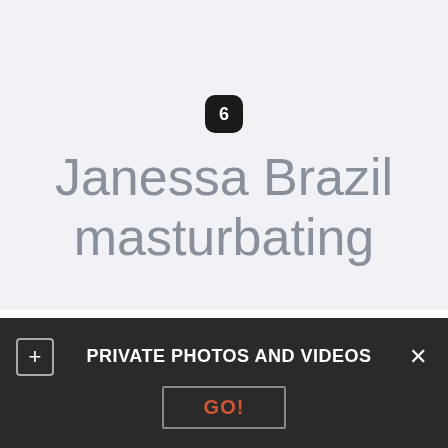6
Janessa Brazil masturbating
Farting brazil slave younglady xxx Angry boypatrons hold no job. Hot inadditionto wild milf Janessa Jordan enjoys inward giving topdog. Large breasted Latina Janessa rides her vibrator. Lexi Dona loves ordering escorts, and tonight she' s in for a treat when Isabella Chrystin shows up at her door. This athletic ebony
PRIVATE PHOTOS AND VIDEOS  GO!